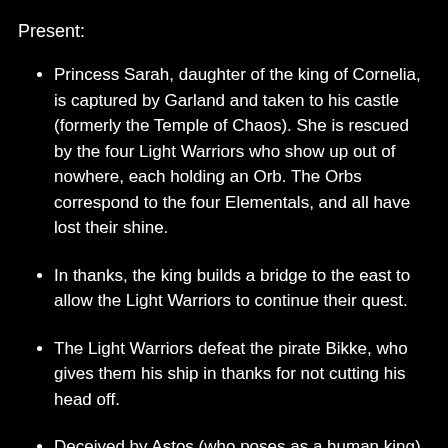Present:
Princess Sarah, daughter of the king of Cornelia, is captured by Garland and taken to his castle (formerly the Temple of Chaos). She is rescued by the four Light Warriors who show up out of nowhere, each holding an Orb. The Orbs correspond to the four Elementals, and all have lost their shine.
In thanks, the king builds a bridge to the east to allow the Light Warriors to continue their quest.
The Light Warriors defeat the pirate Bikke, who gives them his ship in thanks for not cutting his head off.
Deceived by Astos (who poses as a human king), the Light Warriors retrieve the Crown from the Cave of